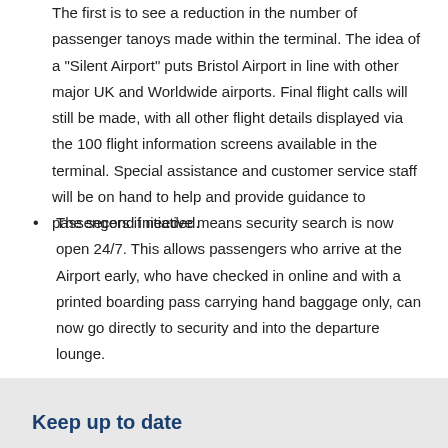The first is to see a reduction in the number of passenger tanoys made within the terminal. The idea of a "Silent Airport" puts Bristol Airport in line with other major UK and Worldwide airports. Final flight calls will still be made, with all other flight details displayed via the 100 flight information screens available in the terminal. Special assistance and customer service staff will be on hand to help and provide guidance to passengers if needed.
The second initiative means security search is now open 24/7. This allows passengers who arrive at the Airport early, who have checked in online and with a printed boarding pass carrying hand baggage only, can now go directly to security and into the departure lounge.
Keep up to date